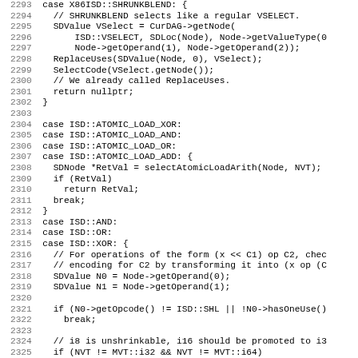[Figure (screenshot): Source code listing in monospace font showing C++ code lines 2293-2325, including case statements for X86ISD::SHRUNKBLEND, ISD::ATOMIC_LOAD_XOR/AND/OR/ADD, ISD::AND, ISD::OR, ISD::XOR with associated logic.]